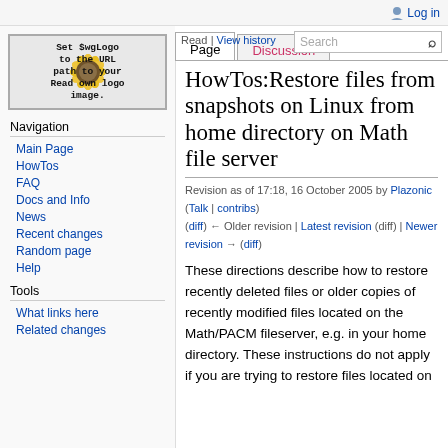Log in
[Figure (illustration): MediaWiki logo placeholder showing sunflower image with text: Set $wgLogo to the URL path to your own logo image.]
Navigation
Main Page
HowTos
FAQ
Docs and Info
News
Recent changes
Random page
Help
Tools
What links here
Related changes
HowTos:Restore files from snapshots on Linux from home directory on Math file server
Revision as of 17:18, 16 October 2005 by Plazonic (Talk | contribs)
(diff) ← Older revision | Latest revision (diff) | Newer revision → (diff)
These directions describe how to restore recently deleted files or older copies of recently modified files located on the Math/PACM fileserver, e.g. in your home directory. These instructions do not apply if you are trying to restore files located on